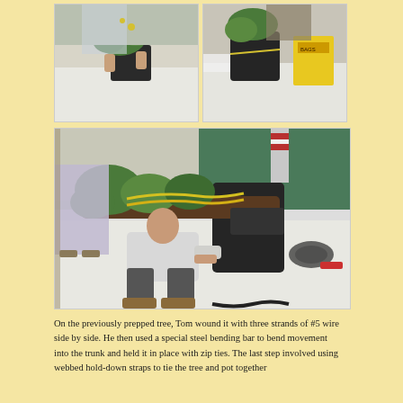[Figure (photo): Two photos side by side: left shows a person holding a bonsai tree in a black pot over a table; right shows a person working with a bonsai tree in a black pot near a yellow box of bags.]
[Figure (photo): Large photo of a man crouching and working on a large bonsai tree laid horizontally on a table, with tools and wire visible on the table. Another person stands in the background in a classroom setting.]
On the previously prepped tree, Tom wound it with three strands of #5 wire side by side. He then used a special steel bending bar to bend movement into the trunk and held it in place with zip ties. The last step involved using webbed hold-down straps to tie the tree and pot together